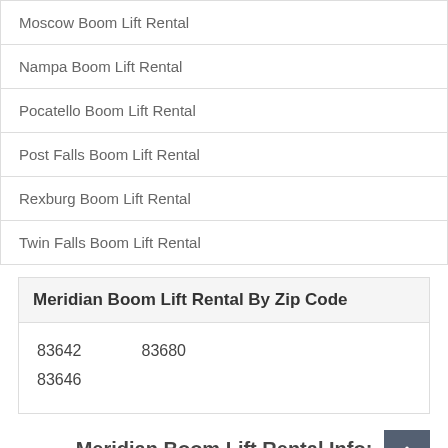Moscow Boom Lift Rental
Nampa Boom Lift Rental
Pocatello Boom Lift Rental
Post Falls Boom Lift Rental
Rexburg Boom Lift Rental
Twin Falls Boom Lift Rental
| Meridian Boom Lift Rental By Zip Code |
| --- |
| 83642 | 83680 |
| 83646 |  |
Meridian Boom Lift Rental Info: